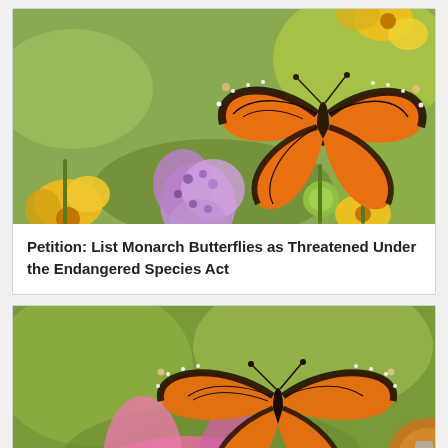[Figure (photo): A monarch butterfly with orange and black wings perched on purple and yellow flowers against a green background.]
Petition: List Monarch Butterflies as Threatened Under the Endangered Species Act
[Figure (photo): A monarch butterfly with wings spread open, orange and black pattern, resting on a pink coneflower with green blurred background.]